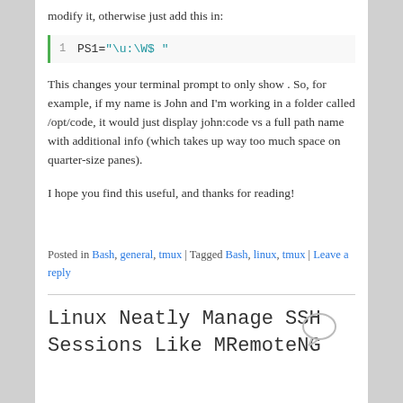modify it, otherwise just add this in:
[Figure (screenshot): Code snippet: PS1="\u:\W$ "]
This changes your terminal prompt to only show . So, for example, if my name is John and I'm working in a folder called /opt/code, it would just display john:code vs a full path name with additional info (which takes up way too much space on quarter-size panes).
I hope you find this useful, and thanks for reading!
Posted in Bash, general, tmux | Tagged Bash, linux, tmux | Leave a reply
Linux Neatly Manage SSH Sessions Like MRemoteNG